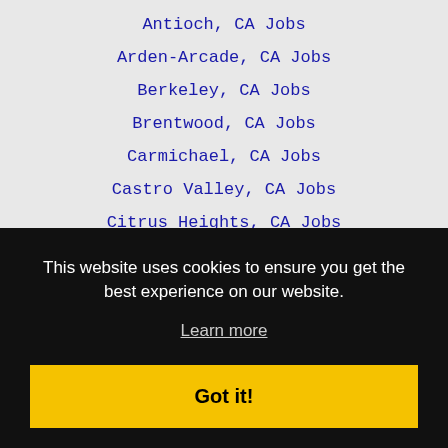Antioch, CA Jobs
Arden-Arcade, CA Jobs
Berkeley, CA Jobs
Brentwood, CA Jobs
Carmichael, CA Jobs
Castro Valley, CA Jobs
Citrus Heights, CA Jobs
Concord, CA Jobs
Cupertino, CA Jobs
This website uses cookies to ensure you get the best experience on our website.
Learn more
Got it!
Laguna, CA Jobs